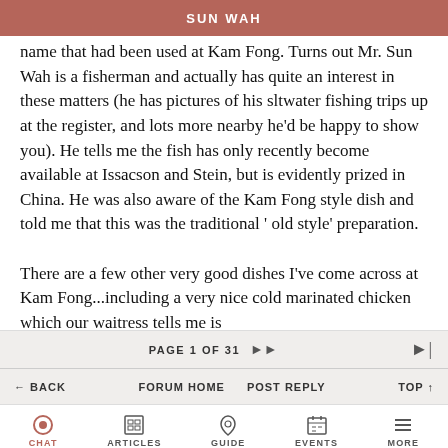SUN WAH
name that had been used at Kam Fong. Turns out Mr. Sun Wah is a fisherman and actually has quite an interest in these matters (he has pictures of his sltwater fishing trips up at the register, and lots more nearby he'd be happy to show you). He tells me the fish has only recently become available at Issacson and Stein, but is evidently prized in China. He was also aware of the Kam Fong style dish and told me that this was the traditional ' old style' preparation.

There are a few other very good dishes I've come across at Kam Fong...including a very nice cold marinated chicken which our waitress tells me is
PAGE 1 OF 31
← BACK   FORUM HOME   POST REPLY   TOP ↑
CHAT   ARTICLES   GUIDE   EVENTS   MORE